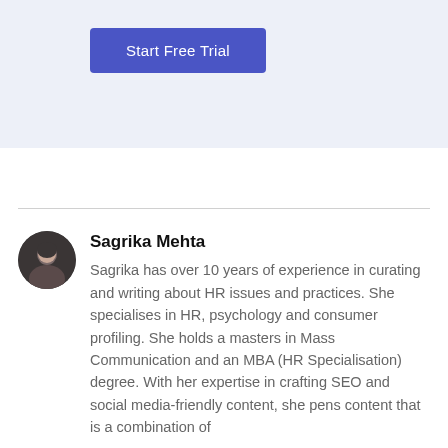[Figure (other): Blue 'Start Free Trial' call-to-action button on a light blue/lavender background banner]
Sagrika Mehta
Sagrika has over 10 years of experience in curating and writing about HR issues and practices. She specialises in HR, psychology and consumer profiling. She holds a masters in Mass Communication and an MBA (HR Specialisation) degree. With her expertise in crafting SEO and social media-friendly content, she pens content that is a combination of